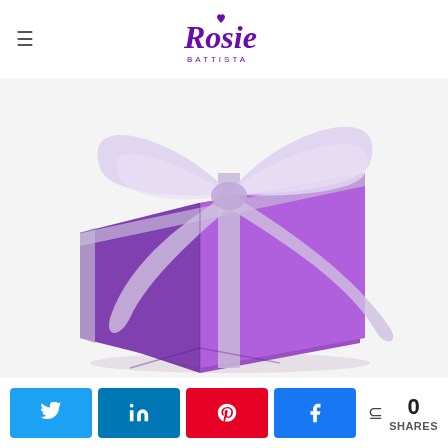Rosie Battista — logo and navigation
[Figure (photo): A shiny purple metallic gift box wrapped with a white/silver organza ribbon tied in a large decorative bow, on a white background.]
N Tweet  s Share  A Pin  k Share  < 0 SHARES